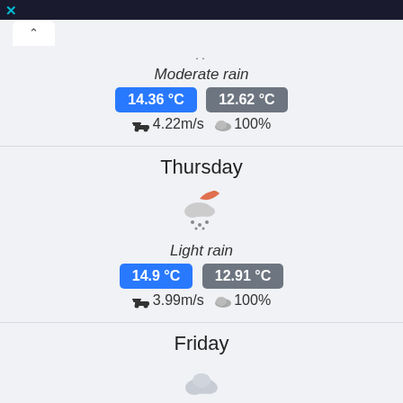X
^ (collapse button)
.. (weather icon dots)
Moderate rain
14.36 °C  12.62 °C
🚗 4.22m/s ☁ 100%
Thursday
[Figure (illustration): Weather icon: partly rainy with red umbrella/sun element and rain dots]
Light rain
14.9 °C  12.91 °C
🚗 3.99m/s ☁ 100%
Friday
[Figure (illustration): Weather icon: light grey cloud (scattered clouds)]
Scattered clouds
21.33 °C  13.62 °C
🚗 4.06m/s ☁ 25%